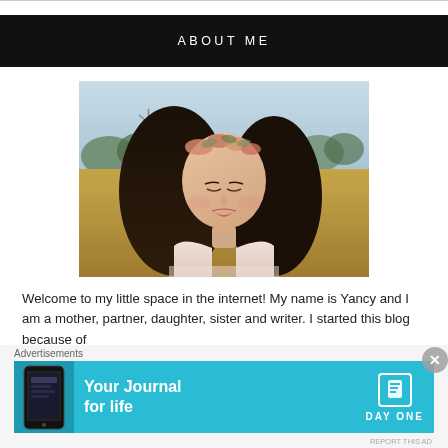ABOUT ME
[Figure (photo): A young woman with dark hair wearing a floral crown, standing in a golden field, looking downward, wearing a light pink top.]
Welcome to my little space in the internet! My name is Yancy and I am a mother, partner, daughter, sister and writer. I started this blog because of
Advertisements
[Figure (infographic): Day One app advertisement banner: 'Your Journal for life' on a cyan/teal background with a phone image on the left and the DayOne logo and icon on the right.]